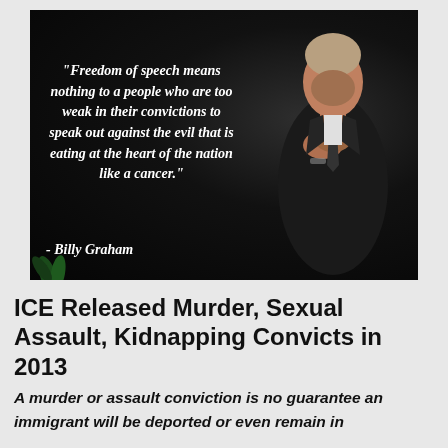[Figure (photo): Dark background image of a man in a suit with hands clasped in prayer pose, with a quote by Billy Graham overlaid in white bold italic text on the left side.]
ICE Released Murder, Sexual Assault, Kidnapping Convicts in 2013
A murder or assault conviction is no guarantee an immigrant will be deported or even remain in